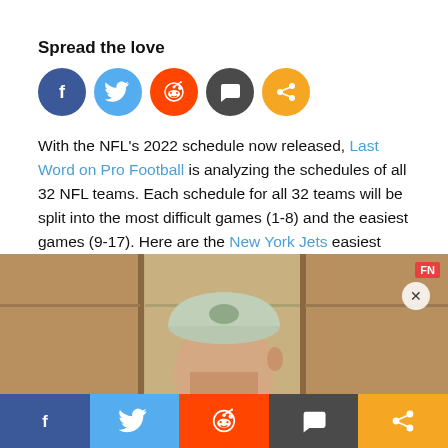Spread the love
[Figure (infographic): Five social sharing icon circles: Facebook (dark blue), Twitter (light blue), Reddit (orange-red), Comment (dark gray), Share (orange)]
With the NFL’s 2022 schedule now released, Last Word on Pro Football is analyzing the schedules of all 32 NFL teams. Each schedule for all 32 teams will be split into the most difficult games (1-8) and the easiest games (9-17). Here are the New York Jets easiest games on their schedule in 2022, ranked in order with 17 being the easiest.
[Figure (photo): Person in a locker room wearing a light green/gray New Era cap, photographed from behind/side. Locker room background with wooden cubicles. FN badge in top-right corner, close X button.]
[Figure (infographic): Bottom social sharing bar with five buttons: Facebook (dark blue), Twitter (light blue), Reddit (orange-red), Comment (dark gray), Share (orange)]